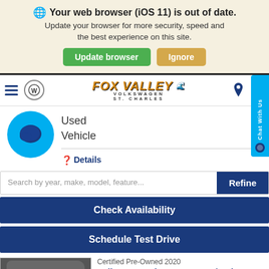Your web browser (iOS 11) is out of date. Update your browser for more security, speed and the best experience on this site.
[Figure (screenshot): Green 'Update browser' button and tan 'Ignore' button]
[Figure (logo): Fox Valley Volkswagen St. Charles dealership logo with hamburger menu, VW circle icon, and location/phone icons]
[Figure (illustration): Cyan circle with chat bubble icon]
Used
Vehicle
Details
Search by year, make, model, feature...
Refine
Check Availability
Schedule Test Drive
[Figure (photo): Car listing image showing Fox Valley dealership banner with phone number (630) 231-9900 and address]
Certified Pre-Owned 2020
Volkswagen Tiguan 2.0T S w/ 3rd